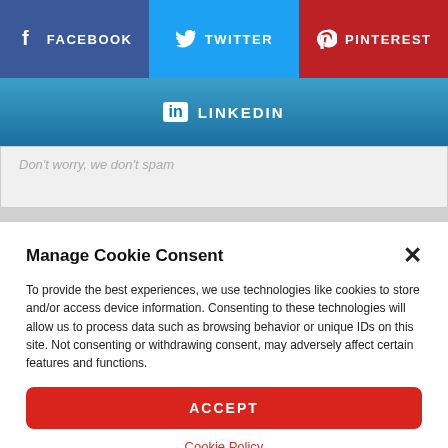[Figure (infographic): Social share buttons row: Facebook (blue/purple), Twitter (cyan), Pinterest (red)]
[Figure (infographic): LinkedIn share button (blue gradient)]
Don't worry, we don't spam
Manage Cookie Consent
To provide the best experiences, we use technologies like cookies to store and/or access device information. Consenting to these technologies will allow us to process data such as browsing behavior or unique IDs on this site. Not consenting or withdrawing consent, may adversely affect certain features and functions.
ACCEPT
Cookie Policy